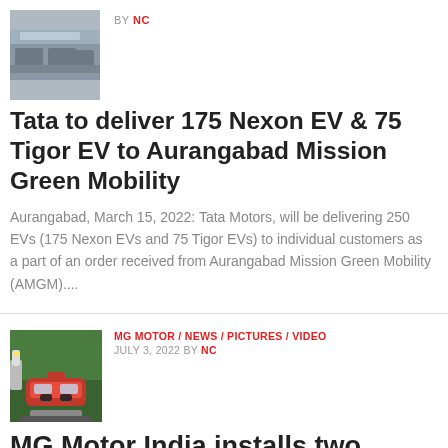[Figure (photo): Thumbnail photo of parked cars in a lot]
BY NC
Tata to deliver 175 Nexon EV & 75 Tigor EV to Aurangabad Mission Green Mobility
Aurangabad, March 15, 2022: Tata Motors, will be delivering 250 EVs (175 Nexon EVs and 75 Tigor EVs) to individual customers as a part of an order received from Aurangabad Mission Green Mobility (AMGM)....
[Figure (photo): Thumbnail photo of a red MG Motor car at a charging station]
MG MOTOR / NEWS / PICTURES / VIDEO
JULY 3, 2022 BY NC
MG Motor India installs two